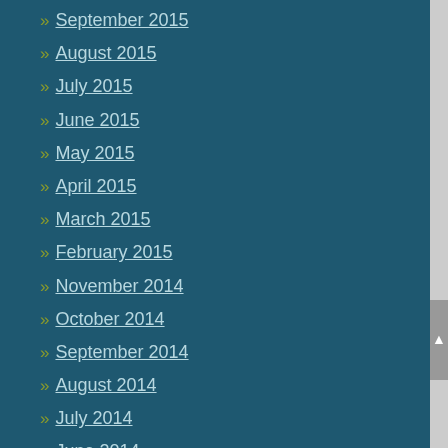September 2015
August 2015
July 2015
June 2015
May 2015
April 2015
March 2015
February 2015
November 2014
October 2014
September 2014
August 2014
July 2014
June 2014